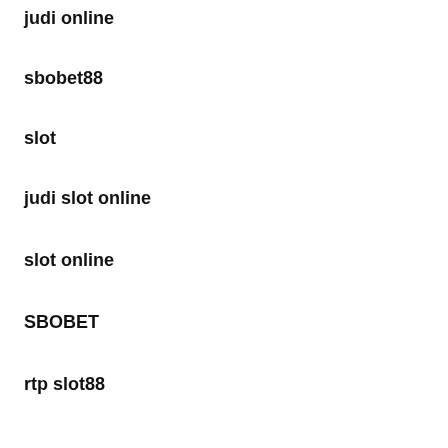judi online
sbobet88
slot
judi slot online
slot online
SBOBET
rtp slot88